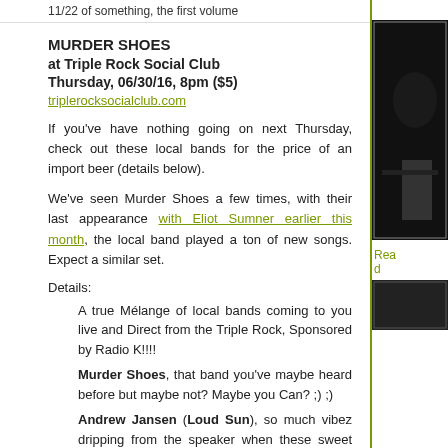11/22 of something, the first volume
MURDER SHOES
at Triple Rock Social Club
Thursday, 06/30/16, 8pm ($5)
triplerocksocialclub.com
If you've have nothing going on next Thursday, check out these local bands for the price of an import beer (details below).
We've seen Murder Shoes a few times, with their last appearance with Eliot Sumner earlier this month, the local band played a ton of new songs. Expect a similar set.
Details:
A true Mélange of local bands coming to you live and Direct from the Triple Rock, Sponsored by Radio K!!!!
Murder Shoes, that band you've maybe heard before but maybe not? Maybe you Can? ;) ;)
Andrew Jansen (Loud Sun), so much vibez dripping from the speaker when these sweet humans play
Devata Daun, if you haven't gotten this song 'Animal Instinct'